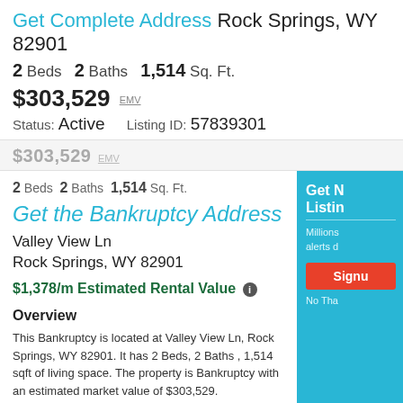Get Complete Address Rock Springs, WY 82901
2 Beds  2 Baths  1,514 Sq. Ft.
$303,529 EMV
Status: Active   Listing ID: 57839301
$303,529 EMV
2 Beds  2 Baths  1,514 Sq. Ft.
Get the Bankruptcy Address
Valley View Ln
Rock Springs, WY 82901
$1,378/m Estimated Rental Value
Overview
This Bankruptcy is located at Valley View Ln, Rock Springs, WY 82901. It has 2 Beds, 2 Baths , 1,514 sqft of living space. The property is Bankruptcy with an estimated market value of $303,529.
Save money on this property now.
Get N... Listin...
Millions... alerts d...
Signu...
No Tha...